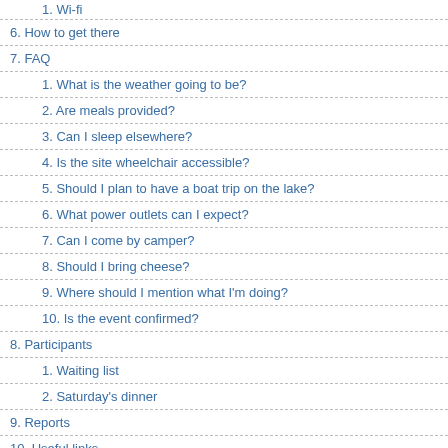1. Wi-fi (truncated/cut off at top)
6. How to get there
7. FAQ
1. What is the weather going to be?
2. Are meals provided?
3. Can I sleep elsewhere?
4. Is the site wheelchair accessible?
5. Should I plan to have a boat trip on the lake?
6. What power outlets can I expect?
7. Can I come by camper?
8. Should I bring cheese?
9. Where should I mention what I'm doing?
10. Is the event confirmed?
8. Participants
1. Waiting list
2. Saturday's dinner
9. Reports
10. Useful links